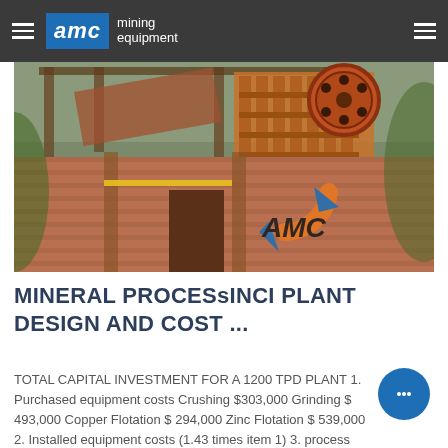AMC mining equipment
[Figure (photo): Outdoor photo of a mineral processing plant with brick structure, orange jaw crusher flywheel visible at top right, and AMC logo watermark overlaid on the lower right portion of the image.]
MINERAL PROCESsINCI PLANT DESIGN AND COST ...
TOTAL CAPITAL INVESTMENT FOR A 1200 TPD PLANT 1. Purchased equipment costs Crushing $303,000 Grinding $ 493,000 Copper Flotation $ 294,000 Zinc Flotation $ 539,000 2. Installed equipment costs (1.43 times item 1) 3. process Piping (10 percent of